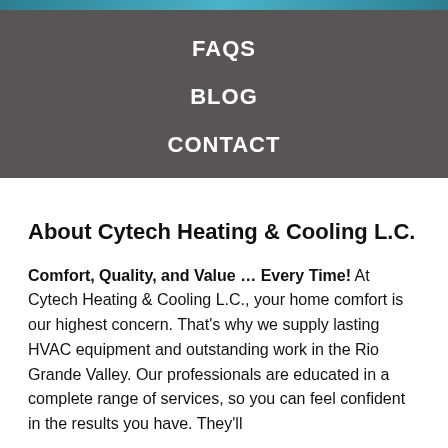FAQS
BLOG
CONTACT
About Cytech Heating & Cooling L.C.
Comfort, Quality, and Value … Every Time! At Cytech Heating & Cooling L.C., your home comfort is our highest concern. That's why we supply lasting HVAC equipment and outstanding work in the Rio Grande Valley. Our professionals are educated in a complete range of services, so you can feel confident in the results you have. They'll